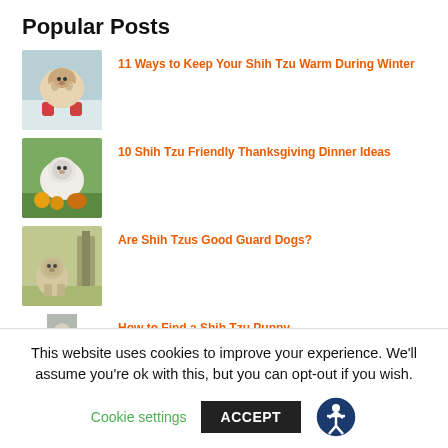Popular Posts
11 Ways to Keep Your Shih Tzu Warm During Winter
10 Shih Tzu Friendly Thanksgiving Dinner Ideas
Are Shih Tzus Good Guard Dogs?
How to Find a Shih Tzu Puppy
This website uses cookies to improve your experience. We'll assume you're ok with this, but you can opt-out if you wish.
Cookie settings   ACCEPT